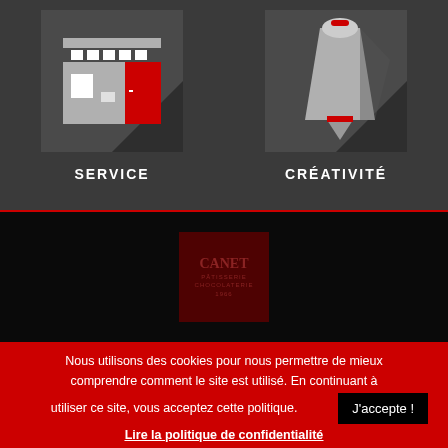[Figure (illustration): Icon of a store/shop building in grey and red flat design style with shadow on dark grey background]
SERVICE
[Figure (illustration): Icon of a pastry bag/piping bag in grey and red flat design style with shadow on dark grey background]
CRÉATIVITÉ
[Figure (logo): CANET logo in dark red/maroon box on black background — CANET PÂTISSERIE CHOCOLATERIE text]
Nous utilisons des cookies pour nous permettre de mieux comprendre comment le site est utilisé. En continuant à utiliser ce site, vous acceptez cette politique.
J'accepte !
Lire la politique de confidentialité